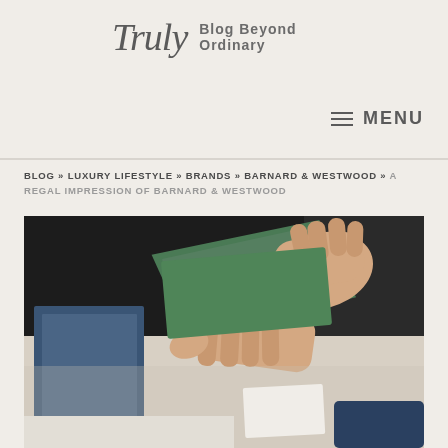Truly — Blog Beyond Ordinary
MENU
BLOG » LUXURY LIFESTYLE » BRANDS » BARNARD & WESTWOOD » A REGAL IMPRESSION OF BARNARD & WESTWOOD
[Figure (photo): Hands inserting or handling a dark green textured card/envelope, with blue paper and white materials visible in the background on a work surface]